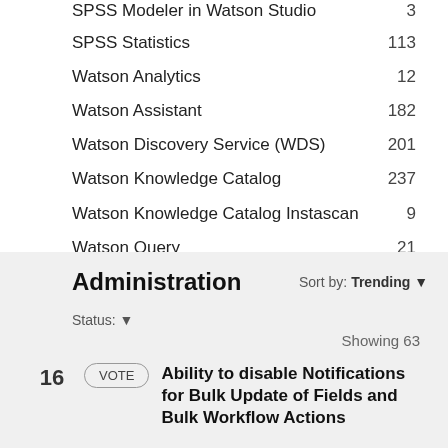SPSS Modeler in Watson Studio  3
SPSS Statistics  113
Watson Analytics  12
Watson Assistant  182
Watson Discovery Service (WDS)  201
Watson Knowledge Catalog  237
Watson Knowledge Catalog Instascan  9
Watson Query  21
Administration
Sort by: Trending ▼   Status: ▼
Showing 63
16  Ability to disable Notifications for Bulk Update of Fields and Bulk Workflow Actions